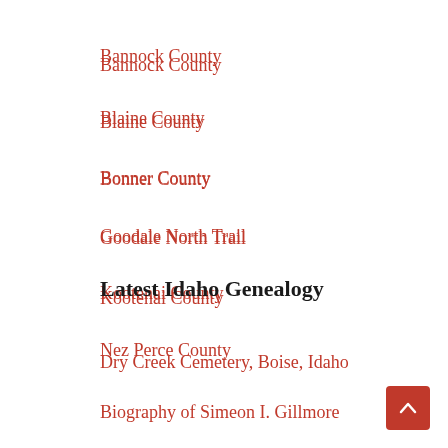Bannock County
Blaine County
Bonner County
Goodale North Trail
Kootenai County
Nez Perce County
Latest Idaho Genealogy
Dry Creek Cemetery, Boise, Idaho
Biography of Simeon I. Gillmore